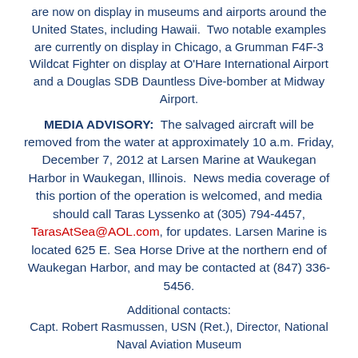are now on display in museums and airports around the United States, including Hawaii.  Two notable examples are currently on display in Chicago, a Grumman F4F-3 Wildcat Fighter on display at O'Hare International Airport and a Douglas SDB Dauntless Dive-bomber at Midway Airport.
MEDIA ADVISORY:  The salvaged aircraft will be removed from the water at approximately 10 a.m. Friday, December 7, 2012 at Larsen Marine at Waukegan Harbor in Waukegan, Illinois.  News media coverage of this portion of the operation is welcomed, and media should call Taras Lyssenko at (305) 794-4457, TarasAtSea@AOL.com, for updates.  Larsen Marine is located 625 E. Sea Horse Drive at the northern end of Waukegan Harbor, and may be contacted at (847) 336-5456.
Additional contacts:
Capt. Robert Rasmussen, USN (Ret.), Director, National Naval Aviation Museum